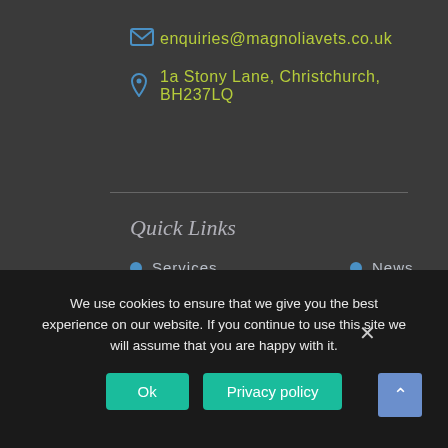enquiries@magnoliavets.co.uk
1a Stony Lane, Christchurch, BH237LQ
Quick Links
Services
News
Special Services
Terms & Conditions
Out of Hours
Privacy Policy
We use cookies to ensure that we give you the best experience on our website. If you continue to use this site we will assume that you are happy with it.